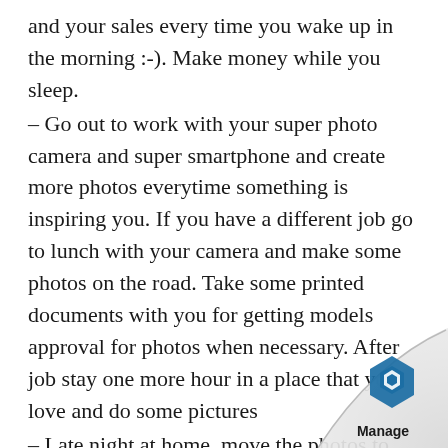and your sales every time you wake up in the morning :-). Make money while you sleep.
– Go out to work with your super photo camera and super smartphone and create more photos everytime something is inspiring you. If you have a different job go to lunch with your camera and make some photos on the road. Take some printed documents with you for getting models approval for photos when necessary. After job stay one more hour in a place that you love and do some pictures
– Late night at home, move the photos to your Hard Drives and let Brian AI work on finding tags and labels and faces and landmarks ...
– Repeat the process
– Become the supplier for the photos us
[Figure (logo): Manage logo with blue hexagon icon and 'Manage' text, shown in bottom right corner with page curl effect]